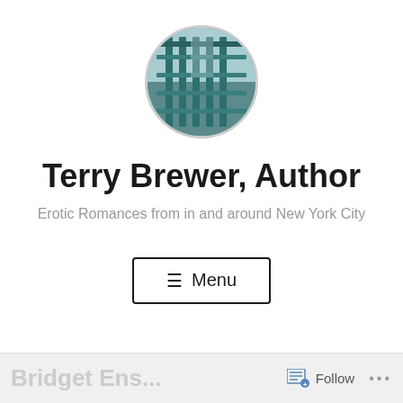[Figure (photo): Circular avatar/profile photo showing a teal/green metal structure, possibly a gate or railing, with blurred background.]
Terry Brewer, Author
Erotic Romances from in and around New York City
≡ Menu
Bridget Ens... Follow ...